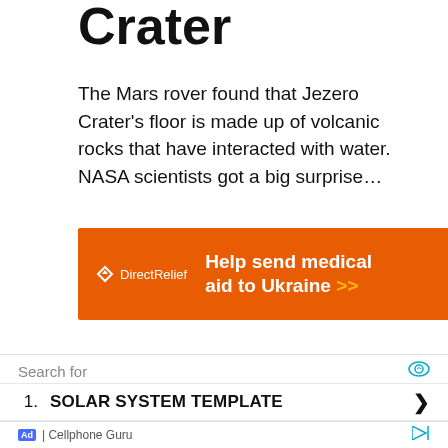Crater
The Mars rover found that Jezero Crater's floor is made up of volcanic rocks that have interacted with water. NASA scientists got a big surprise…
[Figure (other): Orange advertisement banner for Direct Relief charity: 'Help send medical aid to Ukraine >>']
Search for
1. SOLAR SYSTEM TEMPLATE
2. STAR CHARTS FOR BEGINNERS
Ad | Cellphone Guru